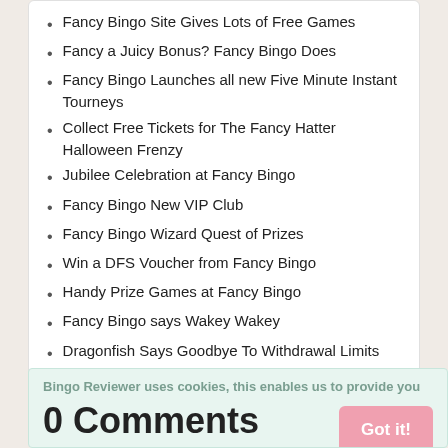Fancy Bingo Site Gives Lots of Free Games
Fancy a Juicy Bonus? Fancy Bingo Does
Fancy Bingo Launches all new Five Minute Instant Tourneys
Collect Free Tickets for The Fancy Hatter Halloween Frenzy
Jubilee Celebration at Fancy Bingo
Fancy Bingo New VIP Club
Fancy Bingo Wizard Quest of Prizes
Win a DFS Voucher from Fancy Bingo
Handy Prize Games at Fancy Bingo
Fancy Bingo says Wakey Wakey
Dragonfish Says Goodbye To Withdrawal Limits
Bingo Reviewer uses cookies, this enables us to provide you
0 Comments
nce.